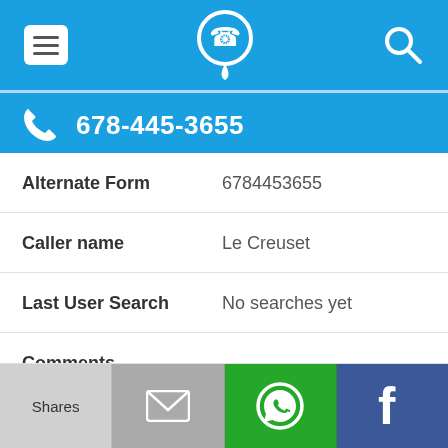Navigation bar with hamburger menu, phone location icon, and search icon
678-445-3655
| Field | Value |
| --- | --- |
| Alternate Form | 6784453655 |
| Caller name | Le Creuset |
| Last User Search | No searches yet |
| Comments |  |
Shares | Email | WhatsApp | Facebook